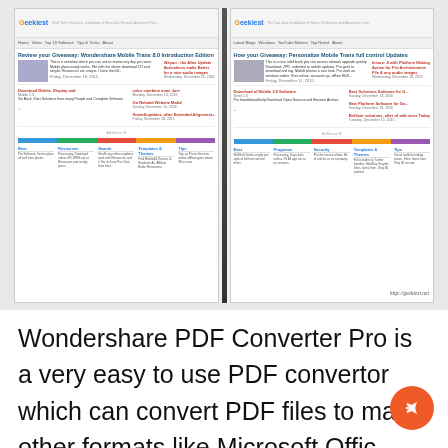[Figure (screenshot): Side-by-side comparison of two Geekiest website screenshots showing blog articles about mobile apps, with a vertical dark divider bar between them. Each panel shows the Geekiest logo, navigation bar, article listings with thumbnails, sidebar content, and a footer with category links separated by a colorful bar.]
Wondershare PDF Converter Pro is a very easy to use PDF convertor which can convert PDF files to many other formats like Microsoft Office documents, HTML, EPUB etc. It can also convert